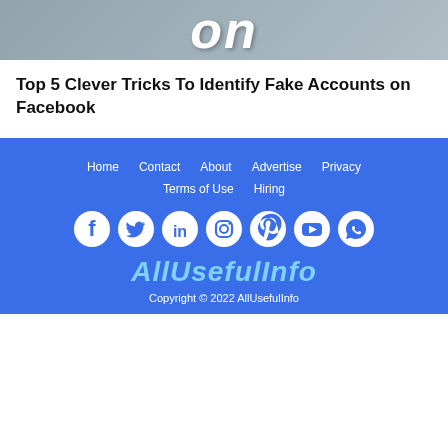[Figure (illustration): Partial image showing the word 'on' in bold white italic text on a blue-grey background, cropped at top]
Top 5 Clever Tricks To Identify Fake Accounts on Facebook
Home  Contact  About  Advertise  Privacy  Terms of Use  Hiring
[Figure (illustration): Social media icons row: Facebook, Twitter, LinkedIn, Instagram, Pinterest, YouTube, WhatsApp]
[Figure (logo): AllUsefulInfo brand logo in light blue italic bold text]
Copyright © 2022 AllUsefulInfo